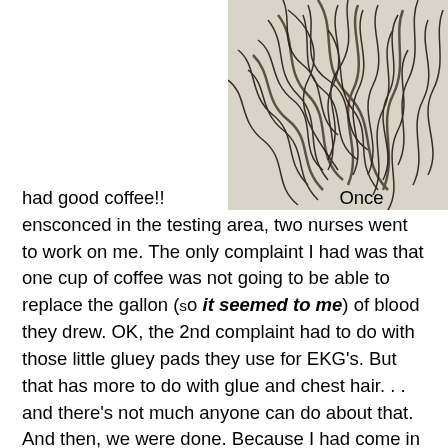[Figure (photo): Close-up photo of dark/black hair strands scattered on a light beige background, showing loose hair from EKG pads removal.]
had good coffee!!  Once ensconced in the testing area, two nurses went to work on me. The only complaint I had was that one cup of coffee was not going to be able to replace the gallon (so it seemed to me) of blood they drew. OK, the 2nd complaint had to do with those little gluey pads they use for EKG's. But that has more to do with glue and chest hair. . . and there's not much anyone can do about that. And then, we were done. Because I had come in before the day of surgery, I was given a reprieve on arrival time on Friday. I didn't need to be there until 5:30am!! Not much of an improvement, but